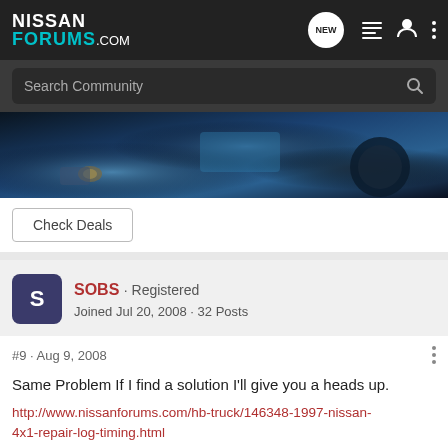NISSAN FORUMS.COM
Search Community
[Figure (photo): Close-up photo of car engine parts with blue tones]
Check Deals
SOBS · Registered
Joined Jul 20, 2008 · 32 Posts
#9 · Aug 9, 2008
Same Problem If I find a solution I'll give you a heads up.
http://www.nissanforums.com/hb-truck/146348-1997-nissan-4x1-repair-log-timing.html